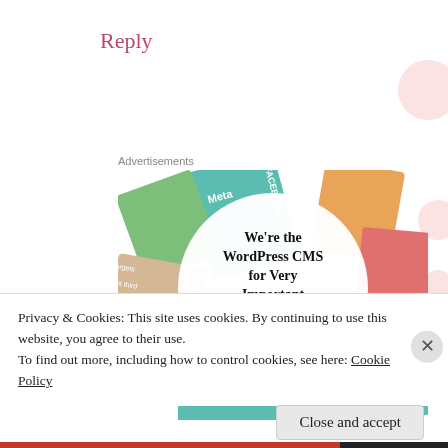Reply
Advertisements
[Figure (illustration): WordPress VIP advertisement showing colorful publication covers/cards fanned out with a white circle in the center containing the text 'We're the WordPress CMS for Very Important Content' with WordPress VIP logo and 'Learn more →' button]
Privacy & Cookies: This site uses cookies. By continuing to use this website, you agree to their use.
To find out more, including how to control cookies, see here: Cookie Policy
Close and accept